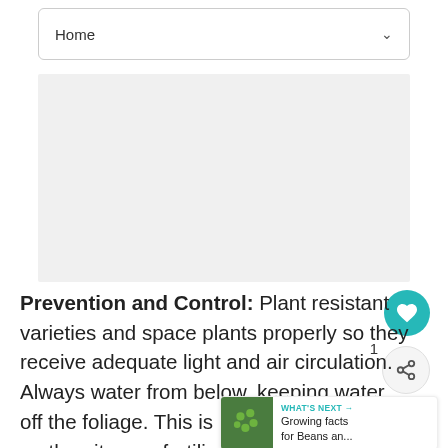Home
[Figure (photo): Gray placeholder image block for an article about plant disease prevention]
Prevention and Control: Plant resistant varieties and space plants properly so they receive adequate light and air circulation. Always water from below, keeping water off the foliage. This is paramount for roses. on the nitrogen fertilizer. Apply fungicides
WHAT'S NEXT → Growing facts for Beans an...